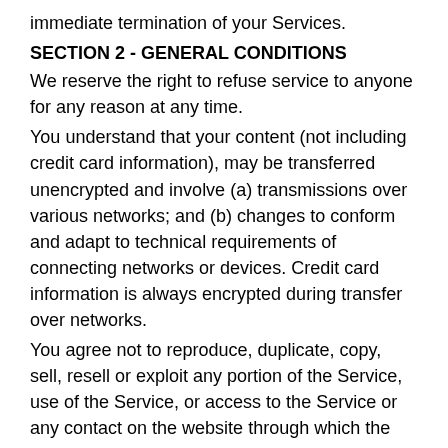immediate termination of your Services.
SECTION 2 - GENERAL CONDITIONS
We reserve the right to refuse service to anyone for any reason at any time.
You understand that your content (not including credit card information), may be transferred unencrypted and involve (a) transmissions over various networks; and (b) changes to conform and adapt to technical requirements of connecting networks or devices. Credit card information is always encrypted during transfer over networks.
You agree not to reproduce, duplicate, copy, sell, resell or exploit any portion of the Service, use of the Service, or access to the Service or any contact on the website through which the service is provided, without express written permission by us.
The headings used in this agreement are included for convenience only and will not limit or otherwise affect these Terms.
SECTION 3 - ACCURACY, COMPLETENESS AND TIMELINESS OF INFORMATION